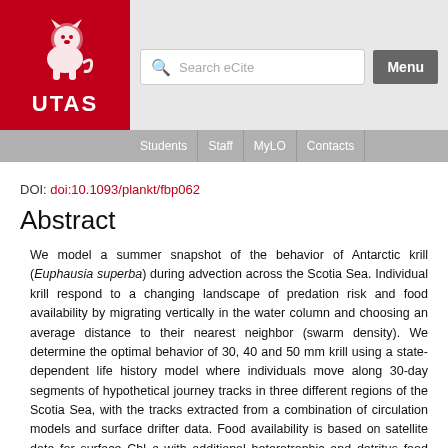UTAS header with search bar and navigation (Students, Staff, MyLO, Contacts)
DOI: doi:10.1093/plankt/fbp062
Abstract
We model a summer snapshot of the behavior of Antarctic krill (Euphausia superba) during advection across the Scotia Sea. Individual krill respond to a changing landscape of predation risk and food availability by migrating vertically in the water column and choosing an average distance to their nearest neighbor (swarm density). We determine the optimal behavior of 30, 40 and 50 mm krill using a state-dependent life history model where individuals move along 30-day segments of hypothetical journey tracks in three different regions of the Scotia Sea, with the tracks extracted from a combination of circulation models and surface drifter data. Food availability is based on satellite data for surface Chl a with additional heterotrophic and detritus food components, and mortality is parameterized with respect to distance from shore, daylight and krill swarming-behavior. We predict that proximity to predator colonies has a distinct effect on behavior, particularly